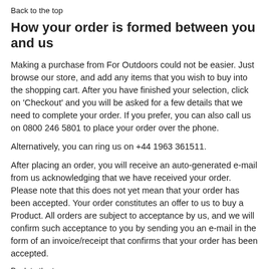Back to the top
How your order is formed between you and us
Making a purchase from For Outdoors could not be easier. Just browse our store, and add any items that you wish to buy into the shopping cart. After you have finished your selection, click on 'Checkout' and you will be asked for a few details that we need to complete your order. If you prefer, you can also call us on 0800 246 5801 to place your order over the phone.
Alternatively, you can ring us on +44 1963 361511.
After placing an order, you will receive an auto-generated e-mail from us acknowledging that we have received your order. Please note that this does not yet mean that your order has been accepted. Your order constitutes an offer to us to buy a Product. All orders are subject to acceptance by us, and we will confirm such acceptance to you by sending you an e-mail in the form of an invoice/receipt that confirms that your order has been accepted.
Back to the top
To change or cancel your order before receipt of the order confirmation